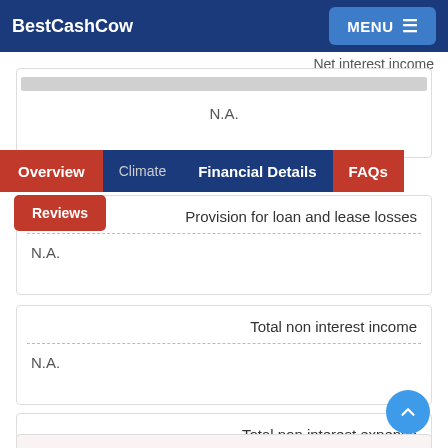BestCashCow | MENU
Net interest income
N.A.
Provision for loan and lease losses
N.A.
Total non interest income
N.A.
Total non interest expense
N.A.